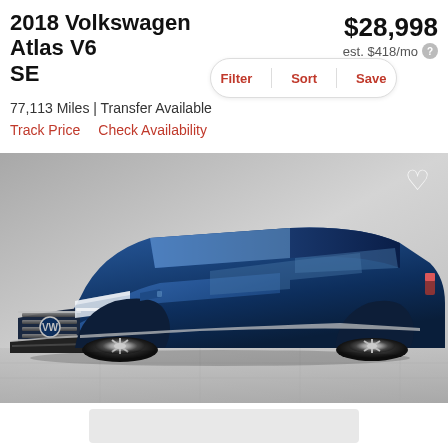2018 Volkswagen Atlas V6 SE
$28,998
est. $418/mo
Filter  Sort  Save
77,113 Miles | Transfer Available
Track Price    Check Availability
[Figure (photo): 2018 Volkswagen Atlas V6 SE in deep blue metallic color, front three-quarter view, parked on a tiled surface with a grey background. A heart/favorite icon appears in the top-right of the image.]
[Figure (other): Light grey placeholder/ad block at the bottom of the page]